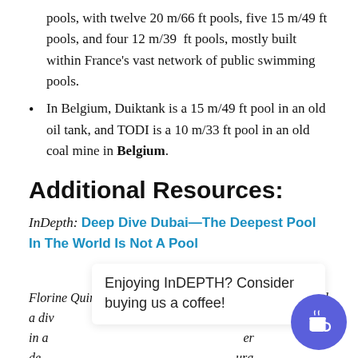pools, with twelve 20 m/66 ft pools, five 15 m/49 ft pools, and four 12 m/39 ft pools, mostly built within France's vast network of public swimming pools.
In Belgium, Duiktank is a 15 m/49 ft pool in an old oil tank, and TODI is a 10 m/33 ft pool in an old coal mine in Belgium.
Additional Resources:
InDepth: Deep Dive Dubai—The Deepest Pool In The World Is Not A Pool
Florine Quirion is a writer, underwater photographer, and a div . She dives in a er de ura dis
Enjoying InDEPTH? Consider buying us a coffee!